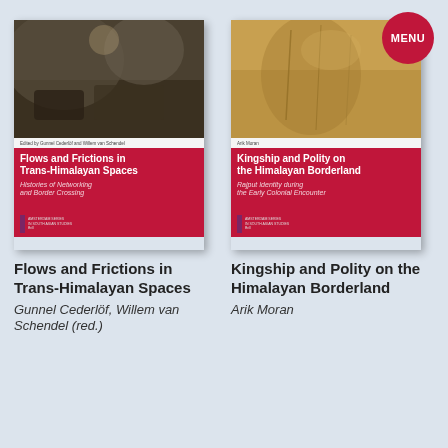[Figure (illustration): Book cover of 'Flows and Frictions in Trans-Himalayan Spaces' with a dark nature photo on top and red band with title below]
[Figure (illustration): Book cover of 'Kingship and Polity on the Himalayan Borderland' with a golden/brown textured photo on top and red band with title below, with red circular MENU badge in top right]
Flows and Frictions in Trans-Himalayan Spaces
Gunnel Cederlöf, Willem van Schendel (red.)
Kingship and Polity on the Himalayan Borderland
Arik Moran